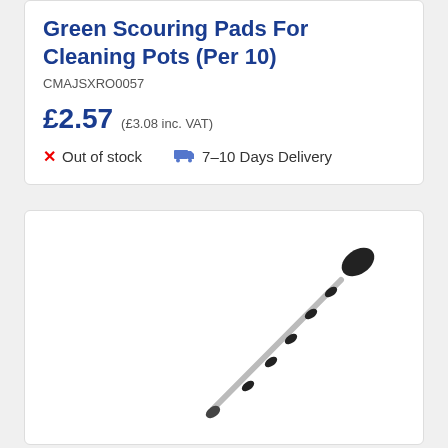Green Scouring Pads For Cleaning Pots (Per 10)
CMAJSXRO0057
£2.57 (£3.08 inc. VAT)
X Out of stock   🚚 7–10 Days Delivery
[Figure (photo): A telescopic cleaning brush/scrubber tool with a black handle and multiple black connector rings along a silver metal shaft, photographed diagonally on a white background.]